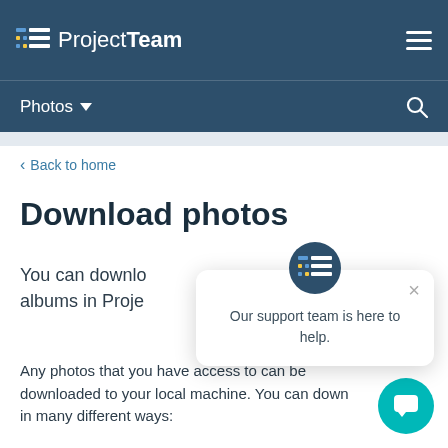ProjectTeam
Photos ▾
‹ Back to home
Download photos
You can download individual photos or entire albums in Proje
Any photos that you have access to can be downloaded to your local machine. You can down in many different ways:
[Figure (screenshot): Chat popup with ProjectTeam logo icon and text: Our support team is here to help. X close button visible. Teal chat bubble button in bottom right corner.]